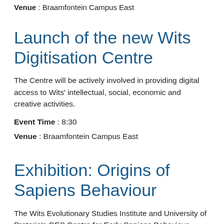Venue : Braamfontein Campus East
Launch of the new Wits Digitisation Centre
The Centre will be actively involved in providing digital access to Wits' intellectual, social, economic and creative activities.
Event Time : 8:30
Venue : Braamfontein Campus East
Exhibition: Origins of Sapiens Behaviour
The Wits Evolutionary Studies Institute and University of Pretoria's GES Centre for Early Sapiens Behaviour...